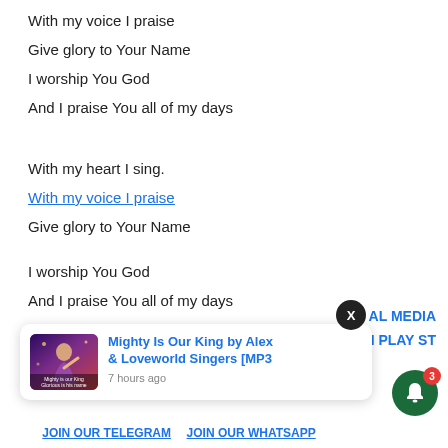With my voice I praise
Give glory to Your Name
I worship You God
And I praise You all of my days
With my heart I sing.
With my voice I praise
Give glory to Your Name
I worship You God
And I praise You all of my days
[Figure (screenshot): Notification popup showing thumbnail image and text: Mighty Is Our King by Alex & Loveworld Singers [MP3, posted 7 hours ago. Also shows partial text AL MEDIA, N PLAY ST, a close X button, JOIN OUR TELEGRAM and JOIN OUR WHATSAPP links, and a green bell notification icon with badge showing 3.]